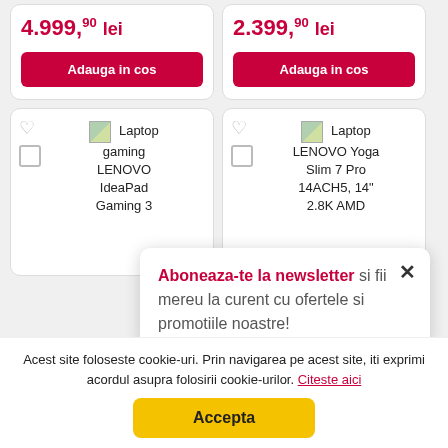4.999,90 lei
Adauga in cos
2.399,90 lei
Adauga in cos
Laptop gaming LENOVO IdeaPad Gaming 3
Laptop LENOVO Yoga Slim 7 Pro 14ACH5, 14" 2.8K AMD
Aboneaza-te la newsletter si fii mereu la curent cu ofertele si promotiile noastre!
Acest site foloseste cookie-uri. Prin navigarea pe acest site, iti exprimi acordul asupra folosirii cookie-urilor. Citeste aici
Accepta